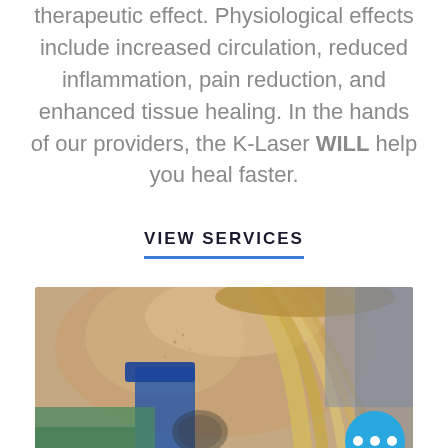therapeutic effect. Physiological effects include increased circulation, reduced inflammation, pain reduction, and enhanced tissue healing. In the hands of our providers, the K-Laser WILL help you heal faster.
VIEW SERVICES
[Figure (photo): Close-up photo of a woman's back with a tattoo and long blonde hair, being treated in a medical or wellness setting.]